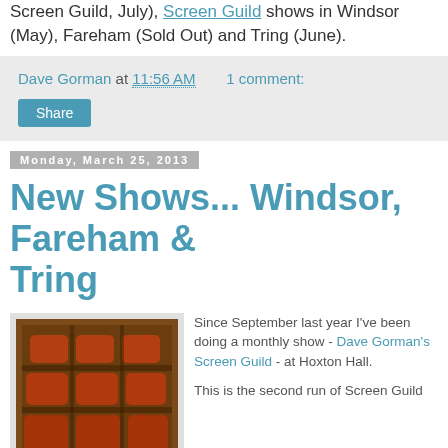Screen Guild, July), Screen Guild shows in Windsor (May), Fareham (Sold Out) and Tring (June).
Dave Gorman at 11:56 AM   1 comment:
Share
Monday, March 25, 2013
New Shows... Windsor, Fareham & Tring
[Figure (photo): Photo of cinema/theatre seats viewed from above, orange-red seats on dark background]
Since September last year I've been doing a monthly show - Dave Gorman's Screen Guild - at Hoxton Hall.

This is the second run of Screen Guild